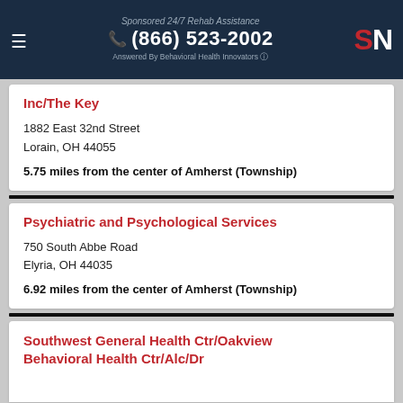Sponsored 24/7 Rehab Assistance | (866) 523-2002 | Answered By Behavioral Health Innovators
Inc/The Key
1882 East 32nd Street
Lorain, OH 44055
5.75 miles from the center of Amherst (Township)
Psychiatric and Psychological Services
750 South Abbe Road
Elyria, OH 44035
6.92 miles from the center of Amherst (Township)
Southwest General Health Ctr/Oakview Behavioral Health Ctr/Alc/Dr